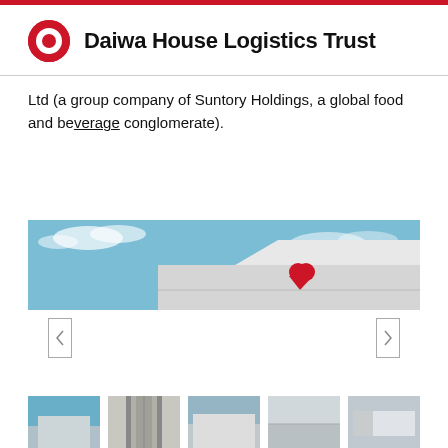Daiwa House Logistics Trust
Ltd (a group company of Suntory Holdings, a global food and beverage conglomerate).
[Figure (photo): Exterior photo of a logistics building with a red heart logo on the facade against a blue sky with clouds.]
[Figure (photo): Row of thumbnail photos showing various views of logistics facilities.]